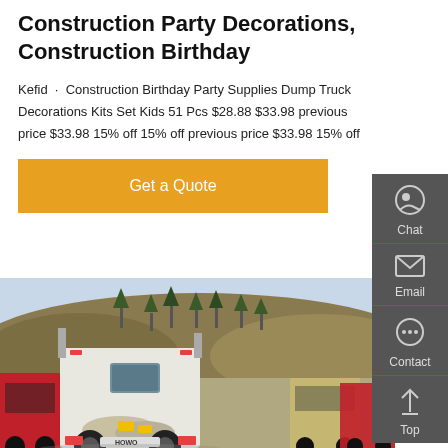Construction Party Decorations, Construction Birthday
Kefid · Construction Birthday Party Supplies Dump Truck Decorations Kits Set Kids 51 Pcs $28.88 $33.98 previous price $33.98 15% off 15% off previous price $33.98 15% off
[Figure (other): Orange 'Get a Quote' button]
[Figure (photo): Photo of HOWO trucks (semi-trucks/tractor units) parked in a lot with a hillside in the background]